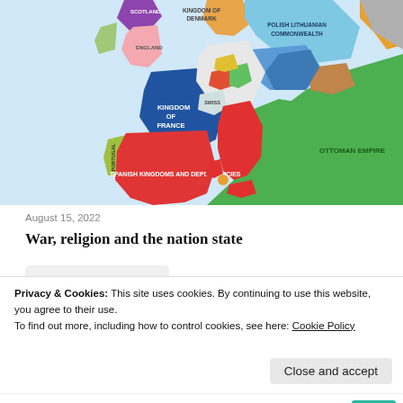[Figure (map): Historical map of Europe showing political divisions including Scotland, England, Kingdom of Denmark, Polish-Lithuanian Commonwealth, Austria, Ottoman Empire, Kingdom of France, Swiss, Spanish Kingdoms and Dependencies, Portugal, and other regions, color-coded with various colors.]
August 15, 2022
War, religion and the nation state
Read more
Privacy & Cookies: This site uses cookies. By continuing to use this website, you agree to their use.
To find out more, including how to control cookies, see here: Cookie Policy
Close and accept
Jenifer Wates says: